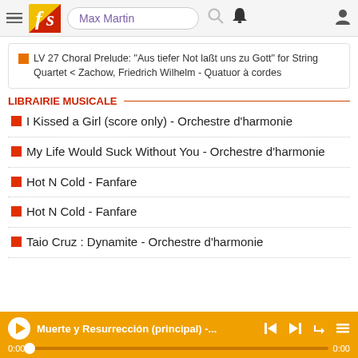Max Martin
LV 27 Choral Prelude: "Aus tiefer Not laßt uns zu Gott" for String Quartet < Zachow, Friedrich Wilhelm - Quatuor à cordes
LIBRAIRIE MUSICALE
I Kissed a Girl (score only) - Orchestre d'harmonie
My Life Would Suck Without You - Orchestre d'harmonie
Hot N Cold - Fanfare
Hot N Cold - Fanfare
Taio Cruz : Dynamite - Orchestre d'harmonie
Muerte y Resurrección (principal) -... 0:00 0:00